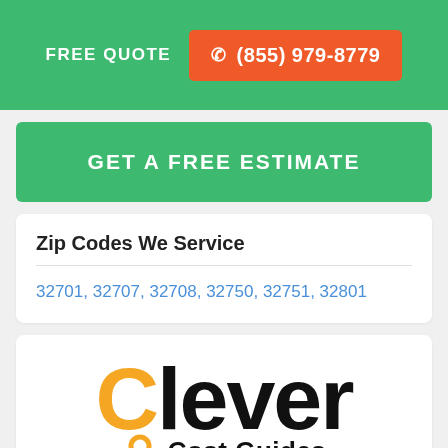FREE QUOTE  ☎ (855) 979-8779
GET A FREE ESTIMATE
Zip Codes We Service
32701, 32707, 32708, 32750, 32751, 32801
[Figure (logo): Clever Cost Guides logo with yellow C and black text]